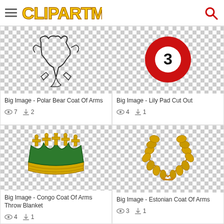ClipArtMax
[Figure (illustration): Polar bear coat of arms outline illustration on checkerboard background]
Big Image - Polar Bear Coat Of Arms
Views: 7, Downloads: 2
[Figure (illustration): Red billiard ball number 3 on checkerboard background]
Big Image - Lily Pad Cut Out
Views: 4, Downloads: 1
[Figure (illustration): Gold and green crown illustration on checkerboard background]
Big Image - Congo Coat Of Arms Throw Blanket
Views: 4, Downloads: 1
[Figure (illustration): Gold laurel wreath illustration on checkerboard background]
Big Image - Estonian Coat Of Arms
Views: 3, Downloads: 1